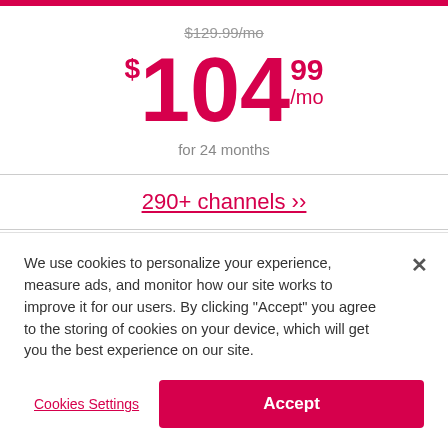$129.99/mo (strikethrough)
$104.99/mo
for 24 months
290+ channels ›› (link)
America's Top 250™
Free DVR and Google Voice Remote‡ Included
We use cookies to personalize your experience, measure ads, and monitor how our site works to improve it for our users. By clicking "Accept" you agree to the storing of cookies on your device, which will get you the best experience on our site.
Cookies Settings
Accept